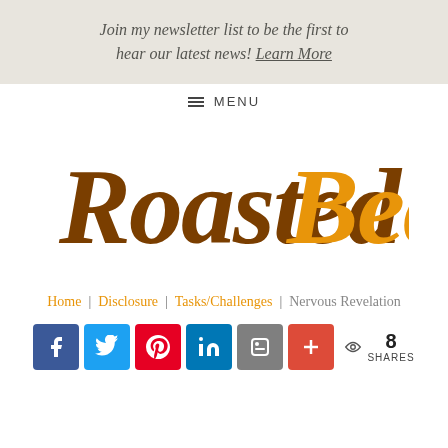Join my newsletter list to be the first to hear our latest news! Learn More
≡ MENU
[Figure (logo): RoastedBeanz logo in brown and orange handwritten script font]
Home | Disclosure | Tasks/Challenges | Nervous Revelation
8 SHARES social share bar with Facebook, Twitter, Pinterest, LinkedIn, Blogger, and More buttons